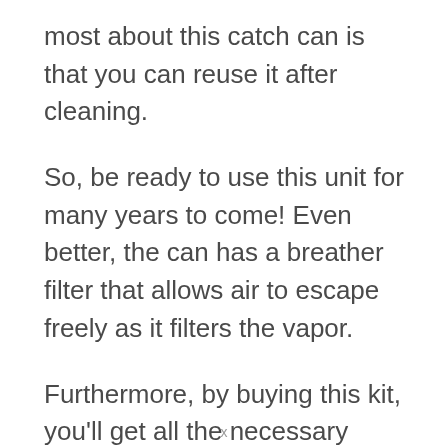most about this catch can is that you can reuse it after cleaning.
So, be ready to use this unit for many years to come! Even better, the can has a breather filter that allows air to escape freely as it filters the vapor.
Furthermore, by buying this kit, you'll get all the necessary brackets and screws, an